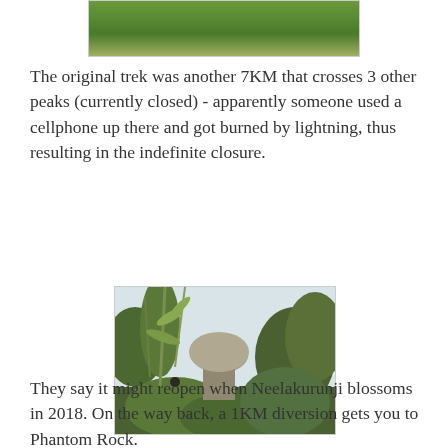[Figure (photo): Top portion of a photo showing green grass and foliage, cropped at top of page]
The original trek was another 7KM that crosses 3 other peaks (currently closed) - apparently someone used a cellphone up there and got burned by lightning, thus resulting in the indefinite closure.
[Figure (photo): A photo of Phantom Rock - a large balanced rock formation surrounded by green shrubs and bamboo, with a hazy sky background]
They say it might reopen when Neelakurunji blossoms in 2018. On the way back, a 1KM diversion gets you to Phantom Rock.